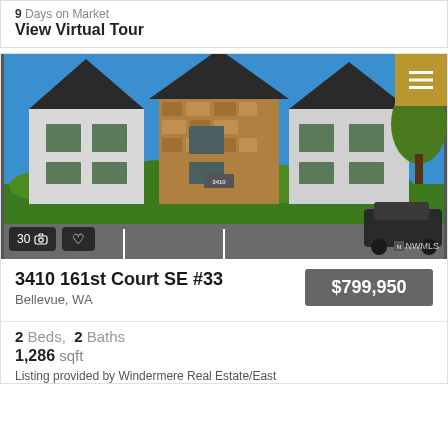9 Days on Market
View Virtual Tour
[Figure (photo): Exterior photo of multi-unit townhome/condo building at 3410 161st Court SE #33 in Bellevue, WA. Three-story structure with gray vertical siding, brown stone center facade, dark peaked roofs with circular windows, and lush green hedges in front. Parking lot visible. Golden menu icon in upper right corner. Photo count badge '30' with camera icon visible lower left.]
3410 161st Court SE #33
Bellevue, WA
$799,950
2 Beds,  2 Baths
1,286 sqft
Listing provided by Windermere Real Estate/East